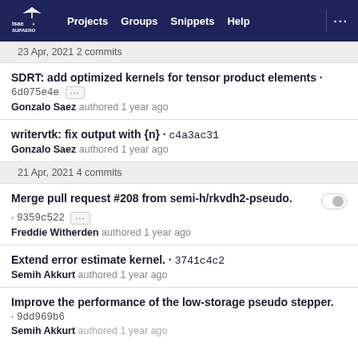ISAE SUPAERO | Projects | Groups | Snippets | Help | ...
23 Apr, 2021 2 commits
SDRT: add optimized kernels for tensor product elements · 6d075e4e
Gonzalo Saez authored 1 year ago
writervtk: fix output with {n} · c4a3ac31
Gonzalo Saez authored 1 year ago
21 Apr, 2021 4 commits
Merge pull request #208 from semi-h/rkvdh2-pseudo. · 9359c522
Freddie Witherden authored 1 year ago
Extend error estimate kernel. · 3741c4c2
Semih Akkurt authored 1 year ago
Improve the performance of the low-storage pseudo stepper. · 9dd969b6
Semih Akkurt authored 1 year ago